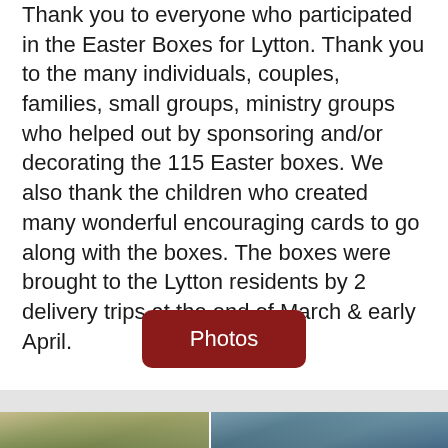Thank you to everyone who participated in the Easter Boxes for Lytton. Thank you to the many individuals, couples, families, small groups, ministry groups who helped out by sponsoring and/or decorating the 115 Easter boxes. We also thank the children who created many wonderful encouraging cards to go along with the boxes. The boxes were brought to the Lytton residents by 2 delivery trips at the end of March & early April.
Photos
[Figure (photo): Two outdoor photos side by side showing groups of people gathered outdoors, presumably at the Lytton Easter Box delivery event.]